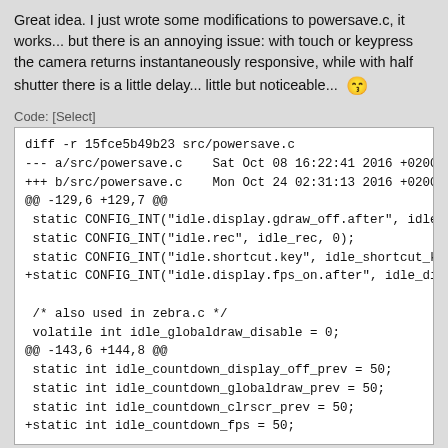Great idea. I just wrote some modifications to powersave.c, it works... but there is an annoying issue: with touch or keypress the camera returns instantaneously responsive, while with half shutter there is a little delay... little but noticeable... 😙
Code: [Select]
diff -r 15fce5b49b23 src/powersave.c
--- a/src/powersave.c   Sat Oct 08 16:22:41 2016 +0200
+++ b/src/powersave.c   Mon Oct 24 02:31:13 2016 +0200
@@ -129,6 +129,7 @@
 static CONFIG_INT("idle.display.gdraw_off.after", idle_display_
 static CONFIG_INT("idle.rec", idle_rec, 0);
 static CONFIG_INT("idle.shortcut.key", idle_shortcut_key, 0);
+static CONFIG_INT("idle.display.fps_on.after", idle_display_fps

 /* also used in zebra.c */
 volatile int idle_globaldraw_disable = 0;
@@ -143,6 +144,8 @@
 static int idle_countdown_display_off_prev = 50;
 static int idle_countdown_globaldraw_prev = 50;
 static int idle_countdown_clrscr_prev = 50;
+static int idle_countdown_fps = 50;
Logged
longpvo
« Reply #1107 on: November 09, 2016, 06:26:07 AM »